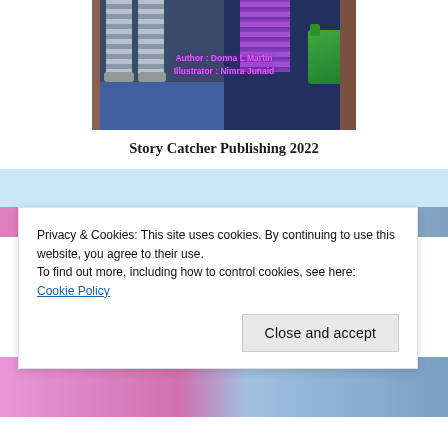[Figure (illustration): Book cover illustration showing two figures from waist down — left figure has grey striped trousers and sandals on a blue floor, right figure has purple checked trousers with a green bag. Text overlay reads 'Author: Donna L Martin / Illustrator: Nimra Junaid']
Story Catcher Publishing 2022
Privacy & Cookies: This site uses cookies. By continuing to use this website, you agree to their use.
To find out more, including how to control cookies, see here:
Cookie Policy
Close and accept